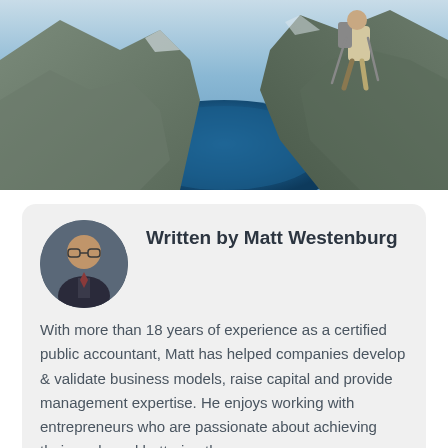[Figure (photo): Aerial or dramatic landscape photo of a fjord or mountain lake with steep rocky cliffs, a hiker with trekking poles visible in the upper right portion, and deep blue water below]
Written by Matt Westenburg
With more than 18 years of experience as a certified public accountant, Matt has helped companies develop & validate business models, raise capital and provide management expertise. He enjoys working with entrepreneurs who are passionate about achieving their goals and bettering the community. He was voted the